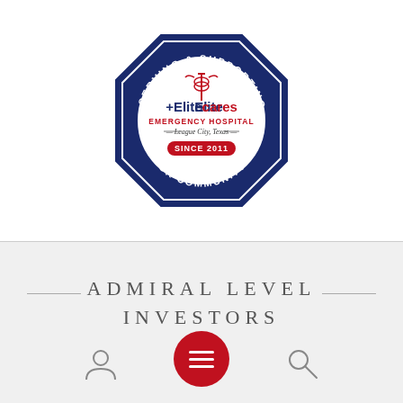[Figure (logo): EliteCare Emergency Hospital logo badge — navy blue octagonal badge shape with text 'SERVING & SUPPORTING OUR COMMUNITY' around the border, white circle center with caduceus symbol, red text 'ElitecareS EMERGENCY HOSPITAL', '— League City, Texas —', red banner 'SINCE 2011']
ADMIRAL LEVEL INVESTORS
[Figure (other): Red circular hamburger menu button with three white horizontal bars]
[Figure (other): User/person icon (gray outline) in bottom left navigation area]
[Figure (other): Search/magnifying glass icon (gray outline) in bottom right navigation area]